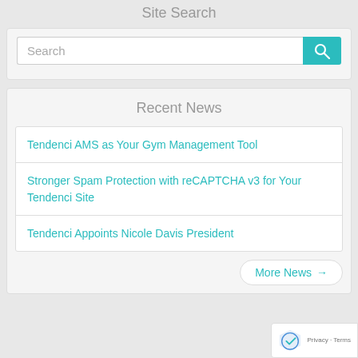Site Search
[Figure (screenshot): Search input box with teal search button]
Recent News
Tendenci AMS as Your Gym Management Tool
Stronger Spam Protection with reCAPTCHA v3 for Your Tendenci Site
Tendenci Appoints Nicole Davis President
More News →